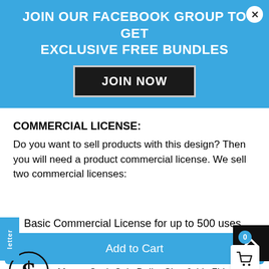JOIN OUR FACEBOOK GROUP TO GET EXCLUSIVE FREE BUNDLES
contact ClipArtSVG to have the item removed immediately.
JOIN NOW
COMMERCIAL LICENSE:
Do you want to sell products with this design? Then you will need a product commercial license. We sell two commercial licenses:
Basic Commercial License for up to 500 uses
[Figure (illustration): Money Cash Coin Dollar Sign icon (black dollar sign graphic)]
Money Cash Coin Dollar Sign 6yhhy7bb.jpg
Add to Cart